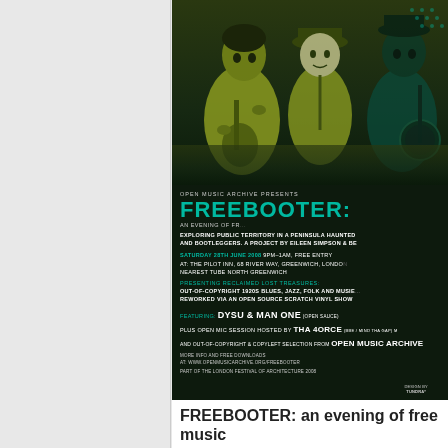[Figure (illustration): Event poster for FREEBOOTER by Open Music Archive. Dark teal/green background with vintage-style illustrations of musicians playing guitar and banjo. Text overlay includes event details: Saturday 28th June 2008, 9pm-1am, Free Entry at The Pilot Inn, 68 River Way, Greenwich, London. Features DySU & Man One (Open Sauce), Tha 4orce, and Open Music Archive selections.]
FREEBOOTER: an evening of free music